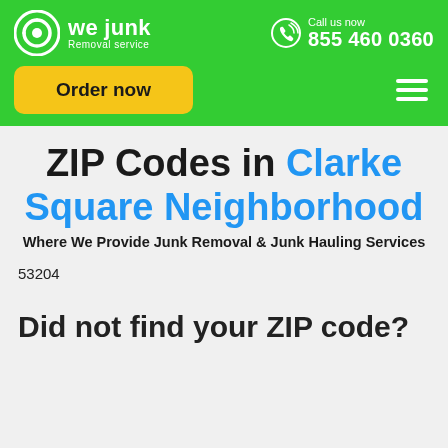we junk Removal service | Call us now 855 460 0360 | Order now
ZIP Codes in Clarke Square Neighborhood
Where We Provide Junk Removal & Junk Hauling Services
53204
Did not find your ZIP code?